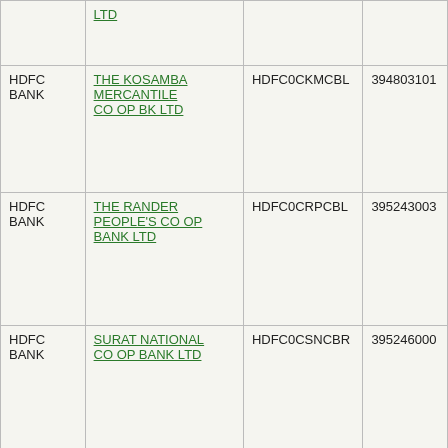| Bank | Branch | IFSC | PIN |
| --- | --- | --- | --- |
| HDFC BANK | LTD |  |  |
| HDFC BANK | THE KOSAMBA MERCANTILE CO OP BK LTD | HDFC0CKMCBL | 394803101 |
| HDFC BANK | THE RANDER PEOPLE'S CO OP BANK LTD | HDFC0CRPCBL | 395243003 |
| HDFC BANK | SURAT NATIONAL CO OP BANK LTD | HDFC0CSNCBR | 395246000 |